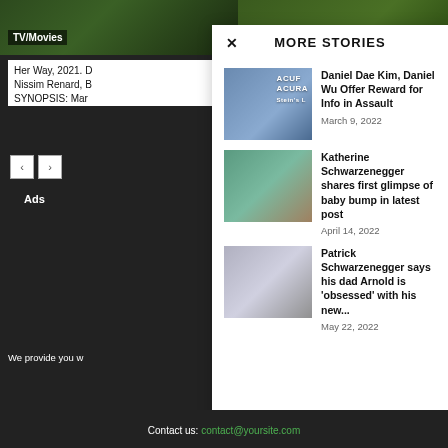[Figure (screenshot): Top background image with greenish tone spanning full width]
TV/Movies
Her Way, 2021. D
Nissim Renard, B
SYNOPSIS: Mar
MORE STORIES
[Figure (photo): Photo of Daniel Dae Kim at Acura event, wearing glasses and scarf]
Daniel Dae Kim, Daniel Wu Offer Reward for Info in Assault
March 9, 2022
[Figure (photo): Photo of Katherine Schwarzenegger smiling, dark floral outfit against green background]
Katherine Schwarzenegger shares first glimpse of baby bump in latest post
April 14, 2022
[Figure (photo): Photo of Patrick Schwarzenegger with another person in formal attire]
Patrick Schwarzenegger says his dad Arnold is 'obsessed' with his new...
May 22, 2022
Contact us: contact@yoursite.com
Ads
We provide you w